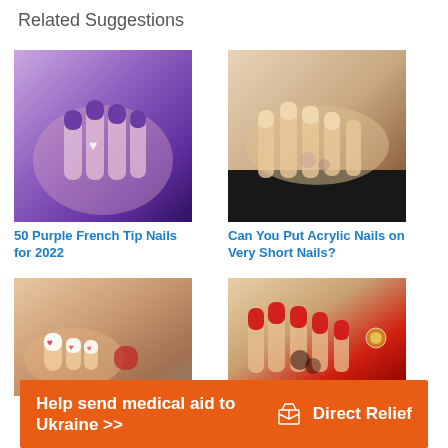Related Suggestions
[Figure (photo): Close-up of hands with purple French tip nails with heart design]
[Figure (photo): Close-up of hands with nude/beige acrylic nails with floral design on dark background]
50 Purple French Tip Nails for 2022
Can You Put Acrylic Nails on Very Short Nails?
[Figure (photo): Close-up of toes with white nail polish and red heart designs]
[Figure (photo): Close-up of hands with French tip nails with red tips and floral design]
Help send medical aid to Ukraine >>